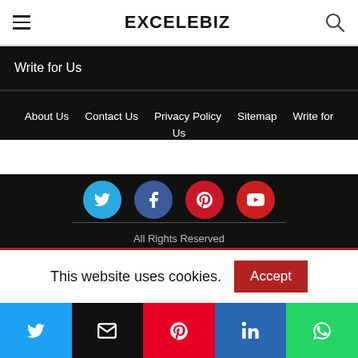EXCELEBIZ
Write for Us
About Us  Contact Us  Privacy Policy  Sitemap  Write for Us
[Figure (illustration): Four social media icon circles: Twitter (blue), Facebook (dark blue), Pinterest (red), YouTube (red)]
All Rights Reserved
This website uses cookies.
[Figure (illustration): Social share bar with Twitter, Email, Pinterest, LinkedIn, WhatsApp buttons]